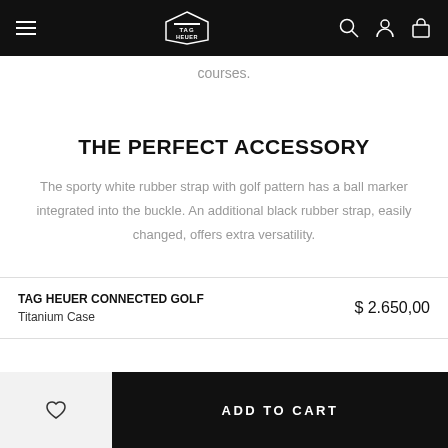TAG HEUER navigation bar with hamburger menu, logo, search, account, and cart icons
courses.
THE PERFECT ACCESSORY
The sporty white rubber strap with golf pattern has a ball marker integrated into the buckle. An additional black rubber strap, easily changed, offers extra versatility.
TAG HEUER CONNECTED GOLF
Titanium Case
$ 2.650,00
ADD TO CART